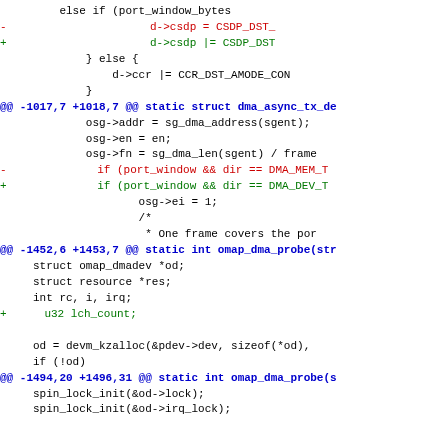[Figure (screenshot): A unified diff (patch) of C source code showing changes to an OMAP DMA driver. Red lines are removals, green lines are additions, blue lines are hunk headers, black lines are context.]